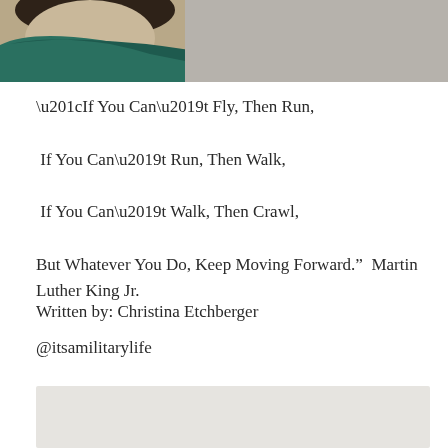[Figure (photo): Partial photo of a child wearing a teal/green jacket, with a gray background visible]
“If You Can’t Fly, Then Run,

If You Can’t Run, Then Walk,

If You Can’t Walk, Then Crawl,

But Whatever You Do, Keep Moving Forward.”  Martin Luther King Jr.
Written by: Christina Etchberger
@itsamilitarylife